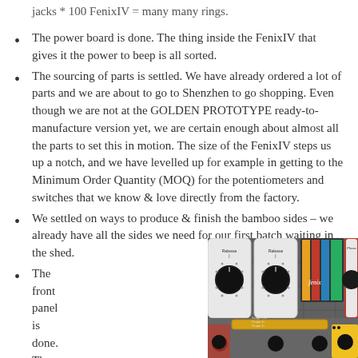jacks * 100 FenixIV = many many rings.
The power board is done. The thing inside the FenixIV that gives it the power to beep is all sorted.
The sourcing of parts is settled. We have already ordered a lot of parts and we are about to go to Shenzhen to go shopping. Even though we are not at the GOLDEN PROTOTYPE ready-to-manufacture version yet, we are certain enough about almost all the parts to set this in motion. The size of the FenixIV steps us up a notch, and we have levelled up for example in getting to the Minimum Order Quantity (MOQ) for the potentiometers and switches that we know & love directly from the factory.
We settled on ways to produce & finish the bamboo sides – we already have all the sides we need for our first batch waiting in the shed.
The front panel is done. The
[Figure (photo): Photo of the FenixIV synthesizer front panel showing knobs labeled Release and Phase, the Fenix logo, and various controls on a dark grey panel with yellow and red accents.]